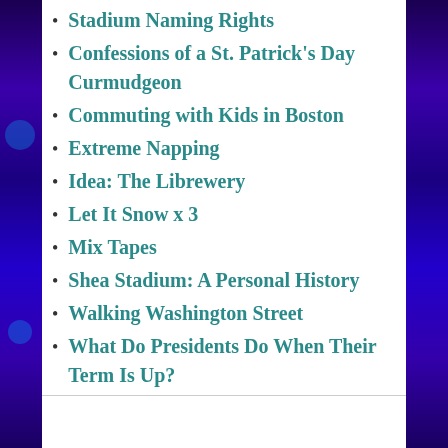Stadium Naming Rights
Confessions of a St. Patrick's Day Curmudgeon
Commuting with Kids in Boston
Extreme Napping
Idea: The Librewery
Let It Snow x 3
Mix Tapes
Shea Stadium: A Personal History
Walking Washington Street
What Do Presidents Do When Their Term Is Up?